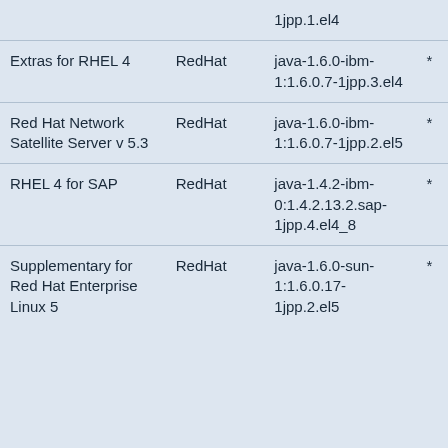| Product | Vendor | Package |  |
| --- | --- | --- | --- |
|  |  | 1jpp.1.el4 | * |
| Extras for RHEL 4 | RedHat | java-1.6.0-ibm-1:1.6.0.7-1jpp.3.el4 | * |
| Red Hat Network Satellite Server v 5.3 | RedHat | java-1.6.0-ibm-1:1.6.0.7-1jpp.2.el5 | * |
| RHEL 4 for SAP | RedHat | java-1.4.2-ibm-0:1.4.2.13.2.sap-1jpp.4.el4_8 | * |
| Supplementary for Red Hat Enterprise Linux 5 | RedHat | java-1.6.0-sun-1:1.6.0.17-1jpp.2.el5 | * |